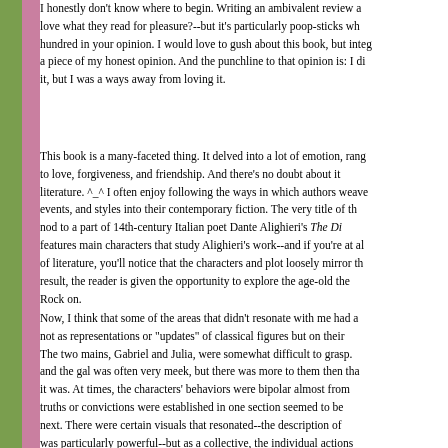I honestly don't know where to begin. Writing an ambivalent review al love what they read for pleasure?--but it's particularly poop-sticks wh hundred in your opinion. I would love to gush about this book, but integ a piece of my honest opinion. And the punchline to that opinion is: I di it, but I was a ways away from loving it.
This book is a many-faceted thing. It delved into a lot of emotion, rang to love, forgiveness, and friendship. And there's no doubt about it literature. ^_^ I often enjoy following the ways in which authors weave events, and styles into their contemporary fiction. The very title of th nod to a part of 14th-century Italian poet Dante Alighieri's The Di features main characters that study Alighieri's work--and if you're at al of literature, you'll notice that the characters and plot loosely mirror th result, the reader is given the opportunity to explore the age-old the Rock on.
Now, I think that some of the areas that didn't resonate with me had a not as representations or "updates" of classical figures but on their The two mains, Gabriel and Julia, were somewhat difficult to grasp. and the gal was often very meek, but there was more to them then tha it was. At times, the characters' behaviors were bipolar almost from truths or convictions were established in one section seemed to be next. There were certain visuals that resonated--the description of was particularly powerful--but as a collective, the individual actions characters just didn't form something cohesive and…well, completely c